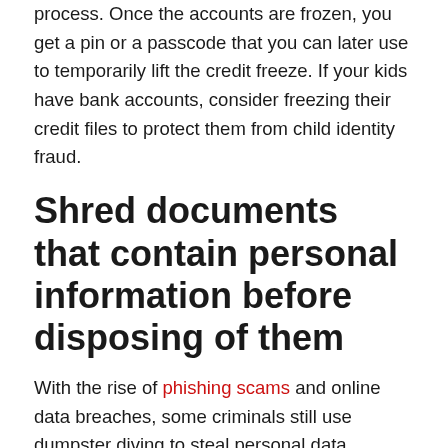process. Once the accounts are frozen, you get a pin or a passcode that you can later use to temporarily lift the credit freeze. If your kids have bank accounts, consider freezing their credit files to protect them from child identity fraud.
Shred documents that contain personal information before disposing of them
With the rise of phishing scams and online data breaches, some criminals still use dumpster diving to steal personal data. Ensure safekeeping of documents that contain personal information like utility bills, credit card and bank statements, IRS correspondence, and other documents that contain PII, then shred the rest.
Use different passwords for